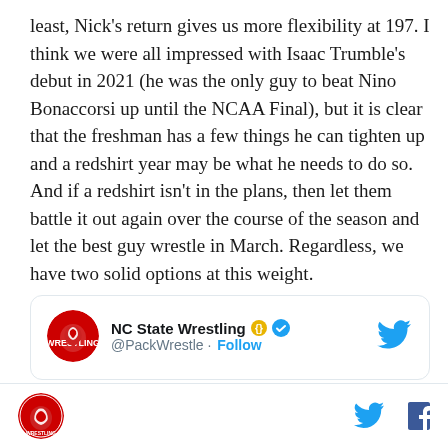least, Nick's return gives us more flexibility at 197. I think we were all impressed with Isaac Trumble's debut in 2021 (he was the only guy to beat Nino Bonaccorsi up until the NCAA Final), but it is clear that the freshman has a few things he can tighten up and a redshirt year may be what he needs to do so. And if a redshirt isn't in the plans, then let them battle it out again over the course of the season and let the best guy wrestle in March. Regardless, we have two solid options at this weight.
[Figure (screenshot): Embedded tweet card from NC State Wrestling (@PackWrestle) with Follow button and Twitter bird icon]
[Figure (logo): NC State Wrestling logo (red circle with wolf) in page footer, with Twitter bird and Facebook f icons on the right]